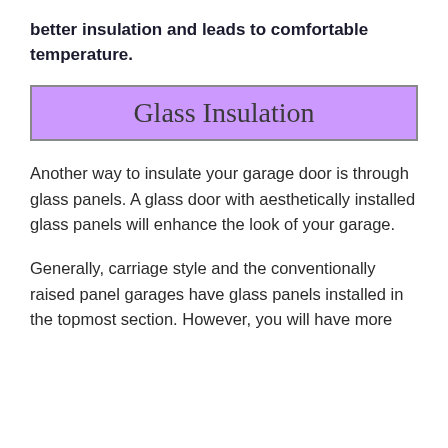better insulation and leads to comfortable temperature.
Glass Insulation
Another way to insulate your garage door is through glass panels. A glass door with aesthetically installed glass panels will enhance the look of your garage.
Generally, carriage style and the conventionally raised panel garages have glass panels installed in the topmost section. However, you will have more